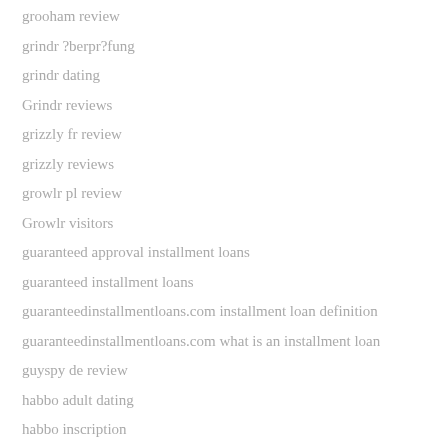grooham review
grindr ?berpr?fung
grindr dating
Grindr reviews
grizzly fr review
grizzly reviews
growlr pl review
Growlr visitors
guaranteed approval installment loans
guaranteed installment loans
guaranteedinstallmentloans.com installment loan definition
guaranteedinstallmentloans.com what is an installment loan
guyspy de review
habbo adult dating
habbo inscription